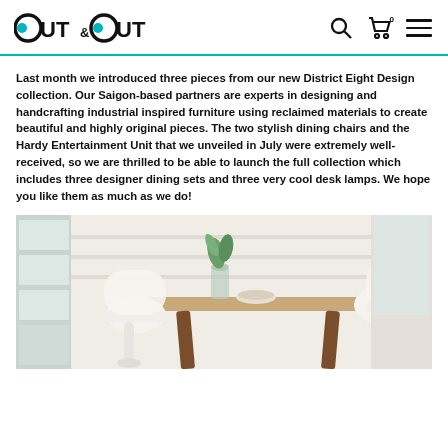OUT&OUT
Last month we introduced three pieces from our new District Eight Design collection. Our Saigon-based partners are experts in designing and handcrafting industrial inspired furniture using reclaimed materials to create beautiful and highly original pieces. The two stylish dining chairs and the Hardy Entertainment Unit that we unveiled in July were extremely well-received, so we are thrilled to be able to launch the full collection which includes three designer dining sets and three very cool desk lamps. We hope you like them as much as we do!
[Figure (photo): A modern dining set with a wooden table and white molded chairs, with a plant in a vase on the table, photographed in a bright room.]